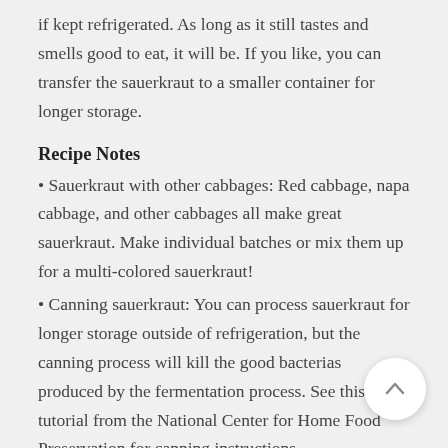if kept refrigerated. As long as it still tastes and smells good to eat, it will be. If you like, you can transfer the sauerkraut to a smaller container for longer storage.
Recipe Notes
• Sauerkraut with other cabbages: Red cabbage, napa cabbage, and other cabbages all make great sauerkraut. Make individual batches or mix them up for a multi-colored sauerkraut!
• Canning sauerkraut: You can process sauerkraut for longer storage outside of refrigeration, but the canning process will kill the good bacterias produced by the fermentation process. See this tutorial from the National Center for Home Food Preservation for canning instructions.